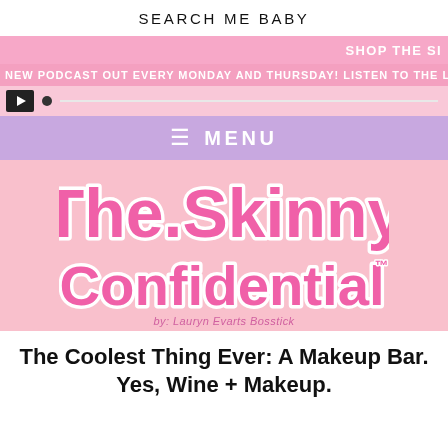SEARCH ME BABY
SHOP THE SI
NEW PODCAST OUT EVERY MONDAY AND THURSDAY! LISTEN TO THE LATEST:
≡ MENU
[Figure (logo): The Skinny Confidential logo in bold pink bubble letters with white outline]
by: Lauryn Evarts Bosstick
The Coolest Thing Ever: A Makeup Bar. Yes, Wine + Makeup.